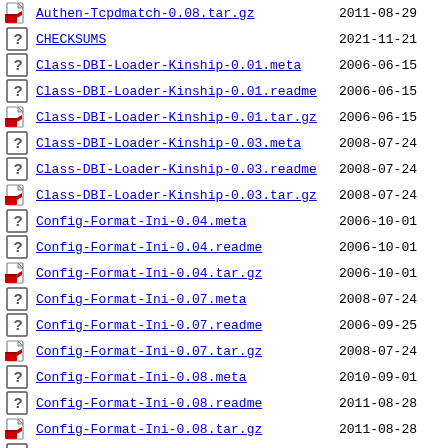Authen-Tcpdmatch-0.08.tar.gz  2011-08-29
CHECKSUMS  2021-11-21
Class-DBI-Loader-Kinship-0.01.meta  2006-06-15
Class-DBI-Loader-Kinship-0.01.readme  2006-06-15
Class-DBI-Loader-Kinship-0.01.tar.gz  2006-06-15
Class-DBI-Loader-Kinship-0.03.meta  2008-07-24
Class-DBI-Loader-Kinship-0.03.readme  2008-07-24
Class-DBI-Loader-Kinship-0.03.tar.gz  2008-07-24
Config-Format-Ini-0.04.meta  2006-10-01
Config-Format-Ini-0.04.readme  2006-10-01
Config-Format-Ini-0.04.tar.gz  2006-10-01
Config-Format-Ini-0.07.meta  2008-07-24
Config-Format-Ini-0.07.readme  2006-09-25
Config-Format-Ini-0.07.tar.gz  2008-07-24
Config-Format-Ini-0.08.meta  2010-09-01
Config-Format-Ini-0.08.readme  2011-08-28
Config-Format-Ini-0.08.tar.gz  2011-08-28
IO-Infiles-0.03.meta  2005-09-29